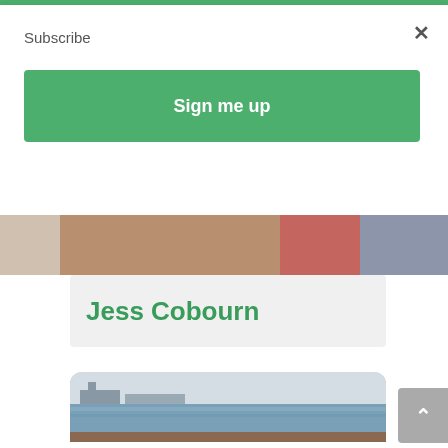Subscribe
×
Sign me up
[Figure (photo): Cropped top portion of a photo showing people in a colorful setting]
Jess Cobourn
[Figure (photo): A young man wearing a white bucket hat and dark t-shirt sits on a wooden dock by a harbor with water and industrial buildings in the background]